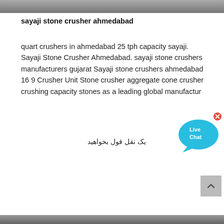[Figure (photo): Top portion of a stone crusher or industrial site photo, cropped at the top of the page]
sayaji stone crusher ahmedabad
quart crushers in ahmedabad 25 tph capacity sayaji. Sayaji Stone Crusher Ahmedabad. sayaji stone crushers manufacturers gujarat Sayaji stone crushers ahmedabad 16 9 Crusher Unit Stone crusher aggregate cone crusher crushing capacity stones as a leading global manufactur
[Figure (other): Live Chat button bubble in blue color with an X close button]
یک نقل قول بخواهید
[Figure (other): Scroll-to-top button, grey square with upward chevron arrow]
[Figure (photo): Bottom portion of another stone crusher or industrial site photo, cropped at the bottom of the page]